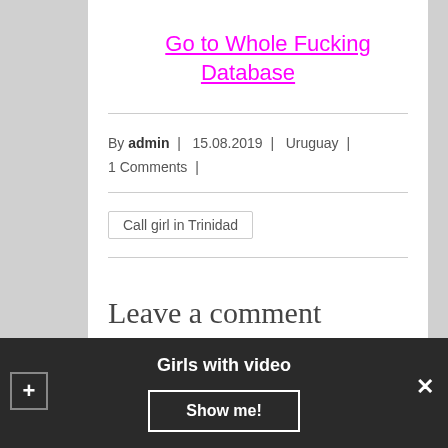Go to Whole Fucking Database
By admin | 15.08.2019 | Uruguay | 1 Comments |
Call girl in Trinidad
Leave a comment
Your email address will not be published. Required
Girls with video  Show me!